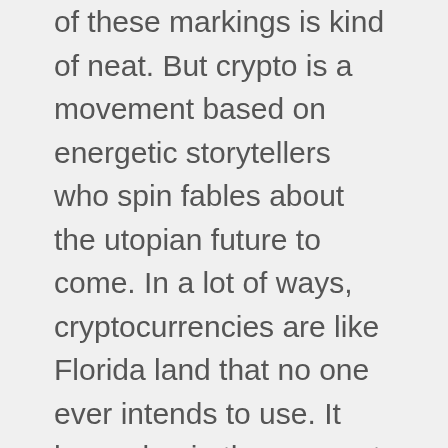of these markings is kind of neat. But crypto is a movement based on energetic storytellers who spin fables about the utopian future to come. In a lot of ways, cryptocurrencies are like Florida land that no one ever intends to use. It has value in the moment it is traded, but only because there’s a collective belief that it has some intrinsic worth. (There is a wide variety of ‘tools’ in the crypto world, like NFTs, smart contracts, and global computing systems, but they don’t work, and none of them have any use cases except speculation and money-laundering, and even in their idealized form they have no use cases aside from doing stuff you can already do far more easily through existing technology, with a different permissioning model.) That said, the